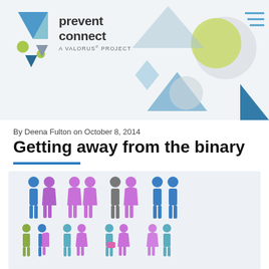[Figure (logo): PreventConnect logo with geometric shapes — triangles and circles in blue, teal, green, and gray with text 'prevent connect A ValorUS PROJECT']
By Deena Fulton on October 8, 2014
Getting away from the binary
[Figure (infographic): Infographic showing rows of colored person icons (male and female silhouettes) in various colors: blue, purple/pink, gray, green, teal, representing gender diversity concepts.]